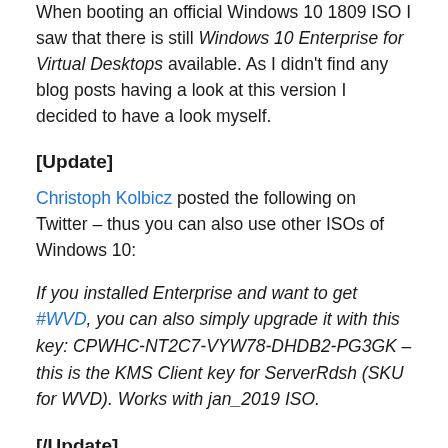When booting an official Windows 10 1809 ISO I saw that there is still Windows 10 Enterprise for Virtual Desktops available. As I didn't find any blog posts having a look at this version I decided to have a look myself.
[Update]
Christoph Kolbicz posted the following on Twitter – thus you can also use other ISOs of Windows 10:
If you installed Enterprise and want to get #WVD, you can also simply upgrade it with this key: CPWHC-NT2C7-VYW78-DHDB2-PG3GK – this is the KMS Client key for ServerRdsh (SKU for WVD). Works with jan_2019 ISO.
[/Update]
Disclaimer:
I am not a licensing expert and quite sure some of the following conflicts with licensing agreements. During the